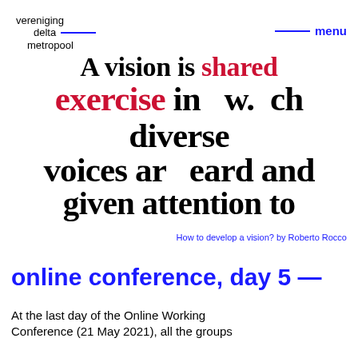vereniging delta metropool
A vision is shared exercise in which diverse voices are heard and given attention to
How to develop a vision? by Roberto Rocco
online conference, day 5 —
At the last day of the Online Working Conference (21 May 2021), all the groups